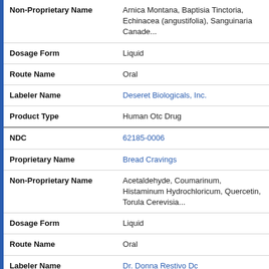| Field | Value |
| --- | --- |
| Non-Proprietary Name | Arnica Montana, Baptisia Tinctoria, Echinacea (angustifolia), Sanguinaria Canade... |
| Dosage Form | Liquid |
| Route Name | Oral |
| Labeler Name | Deseret Biologicals, Inc. |
| Product Type | Human Otc Drug |
| NDC | 62185-0006 |
| Proprietary Name | Bread Cravings |
| Non-Proprietary Name | Acetaldehyde, Coumarinum, Histaminum Hydrochloricum, Quercetin, Torula Cerevisia... |
| Dosage Form | Liquid |
| Route Name | Oral |
| Labeler Name | Dr. Donna Restivo Dc |
| Product Type | Human Otc Drug |
| NDC | 62465-0084 |